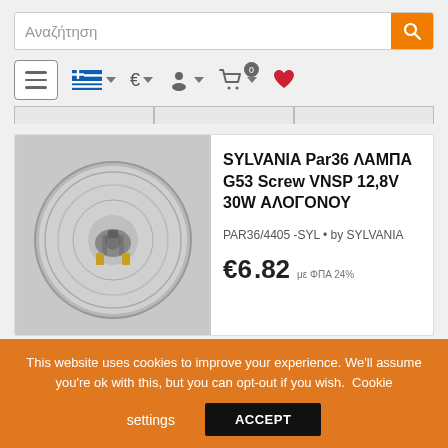[Figure (screenshot): Greek e-commerce website screenshot showing search bar with magnifying glass icon, navigation bar with hamburger menu, Greek flag, Euro currency selector, user icon, shopping cart with badge showing 0, and heart/wishlist icon]
[Figure (photo): Round PAR36 halogen lamp viewed from back, showing G53 screw base and reflector, on grey background]
SYLVANIA Par36 ΛΑΜΠΑ G53 Screw VNSP 12,8V 30W ΑΛΟΓΟΝΟΥ
PAR36/4405 -SYL • by SYLVANIA
€6.82 με ΦΠΑ 24%
This website uses cookies to improve your experience. We'll assume you're ok with this, but you can opt-out if you wish. Cookie settings ACCEPT